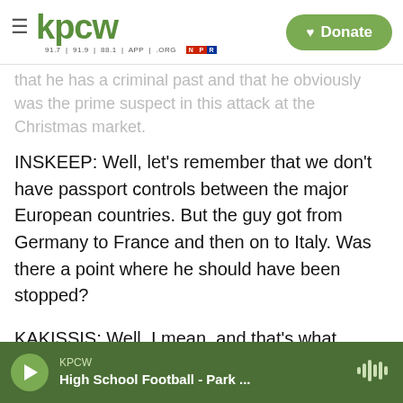KPCW — Navigation and Donate button
that he has a criminal past and that he obviously was the prime suspect in this attack at the Christmas market.
INSKEEP: Well, let's remember that we don't have passport controls between the major European countries. But the guy got from Germany to France and then on to Italy. Was there a point where he should have been stopped?
KAKISSIS: Well, I mean, and that's what Germans are asking themselves, and I think probably other Europeans are as well as to - is, you know, we are -
KPCW — High School Football - Park ...